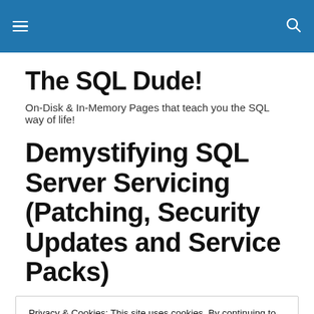The SQL Dude!
On-Disk & In-Memory Pages that teach you the SQL way of life!
Demystifying SQL Server Servicing (Patching, Security Updates and Service Packs)
Privacy & Cookies: This site uses cookies. By continuing to use this website, you agree to their use.
To find out more, including how to control cookies, see here: Cookie Policy